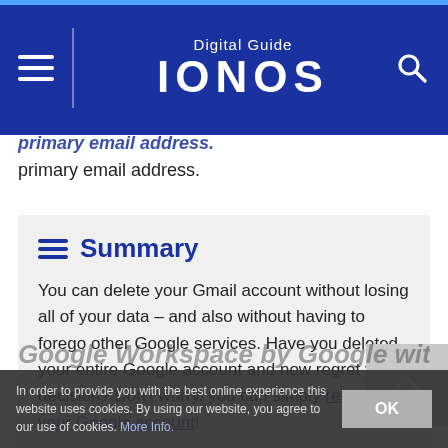Digital Guide IONOS
primary email address.
Summary
You can delete your Gmail account without losing all of your data – and also without having to forego other Google services. Have you deleted your entire Google account and now regret your decision? Don't worry, you can simply restore your Google account!
In order to provide you with the best online experience this website uses cookies. By using our website, you agree to our use of cookies. More Info.